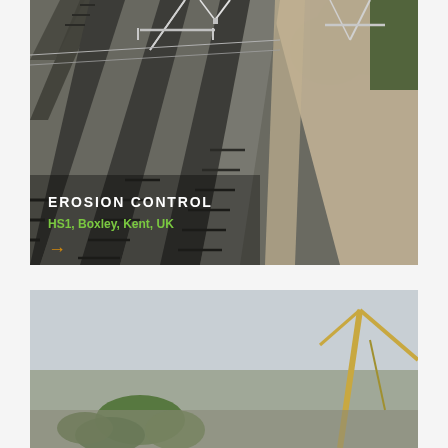[Figure (photo): Aerial view of railway tracks (HS1) showing multiple parallel rail lines with ballast and overhead line equipment, with vegetation visible on the right side. Text overlay reads EROSION CONTROL / HS1, Boxley, Kent, UK with an orange arrow.]
[Figure (photo): Partial aerial or elevated view of a construction or port area with cranes visible against a grey sky, with some green vegetation in the foreground.]